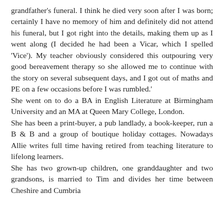grandfather's funeral. I think he died very soon after I was born; certainly I have no memory of him and definitely did not attend his funeral, but I got right into the details, making them up as I went along (I decided he had been a Vicar, which I spelled 'Vice'). My teacher obviously considered this outpouring very good bereavement therapy so she allowed me to continue with the story on several subsequent days, and I got out of maths and PE on a few occasions before I was rumbled.' She went on to do a BA in English Literature at Birmingham University and an MA at Queen Mary College, London. She has been a print-buyer, a pub landlady, a book-keeper, run a B & B and a group of boutique holiday cottages. Nowadays Allie writes full time having retired from teaching literature to lifelong learners. She has two grown-up children, one granddaughter and two grandsons, is married to Tim and divides her time between Cheshire and Cumbria.